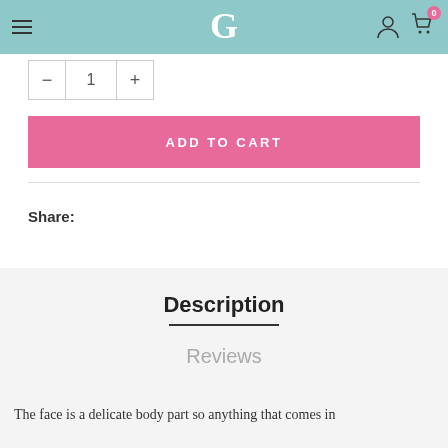G (logo) — navigation header with hamburger menu, user icon, cart icon with badge 0
- 1 +
ADD TO CART
Share:
Description
Reviews
The face is a delicate body part so anything that comes in